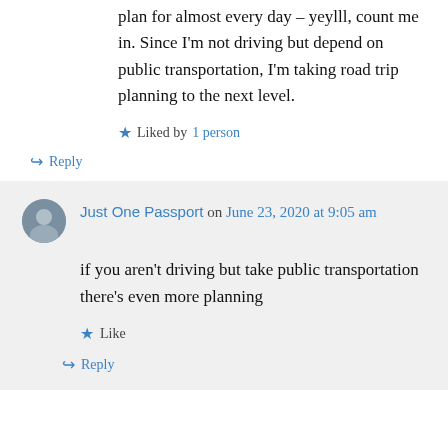plan for almost every day – yeylll, count me in. Since I'm not driving but depend on public transportation, I'm taking road trip planning to the next level.
★ Liked by 1 person
↪ Reply
Just One Passport on June 23, 2020 at 9:05 am
if you aren't driving but take public transportation there's even more planning
★ Like
↪ Reply